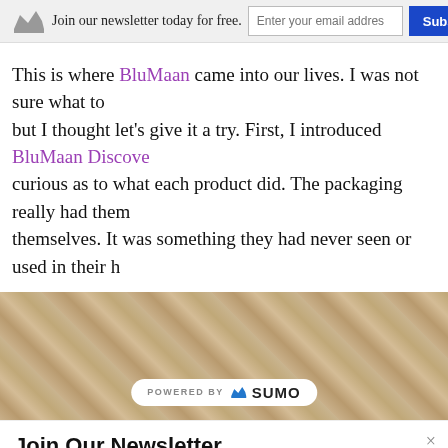Join our newsletter today for free.
This is where BluMaan came into our lives. I was not sure what to but I thought let’s give it a try. First, I introduced BluMaan Discove curious as to what each product did. The packaging really had them themselves. It was something they had never seen or used in their h
[Figure (photo): Sandy/textured background image with a 'POWERED BY SUMO' badge overlay at bottom center]
Join Our Newsletter
Signup today for free and be the first to get notified on new updates.
Enter your Email
Subscribe Now